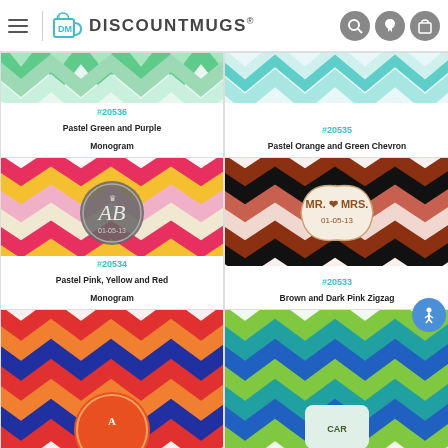DiscountMugs
[Figure (screenshot): Pastel green chevron pattern partial image top]
#20536
Pastel Green and Purple Monogram
[Figure (screenshot): Pastel teal chevron pattern partial image top]
#20535
Pastel Orange and Green Chevron
[Figure (screenshot): Pastel pink yellow red chevron with AB monogram badge]
#20534
Pastel Pink, Yellow and Red Monogram
[Figure (screenshot): Brown and dark pink chevron zigzag with Mr. & Mrs. badge 01-05-13]
#20533
Brown and Dark Pink Zigzag
[Figure (screenshot): Colorful red orange blue chevron partial with circular badge]
[Figure (screenshot): Green teal blue chevron partial with badge]